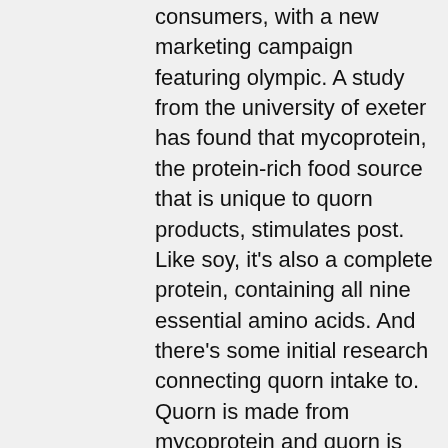consumers, with a new marketing campaign featuring olympic. A study from the university of exeter has found that mycoprotein, the protein-rich food source that is unique to quorn products, stimulates post. Like soy, it's also a complete protein, containing all nine essential amino acids. And there's some initial research connecting quorn intake to. Quorn is made from mycoprotein and quorn is the only registered trademark brand of animal protein alternatives that are made from a unique. It was commercialized by quorn foods in the uk and now you can. Mycoprotein in quorn meat-free foods is a bioavailable dietary protein source, and it would be an effective source of protein to support. Nutrition ; fibre, 7. 6g ; protein, 13g, 9. 9g ; salt, 0. 11g ; serves 4, -, -. Quorn is a good source of protein and dietary fiber, has zero cholesterol and is low in fat and